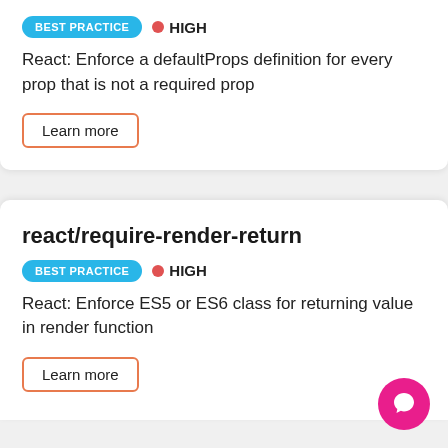BEST PRACTICE • HIGH
React: Enforce a defaultProps definition for every prop that is not a required prop
Learn more
react/require-render-return
BEST PRACTICE • HIGH
React: Enforce ES5 or ES6 class for returning value in render function
Learn more